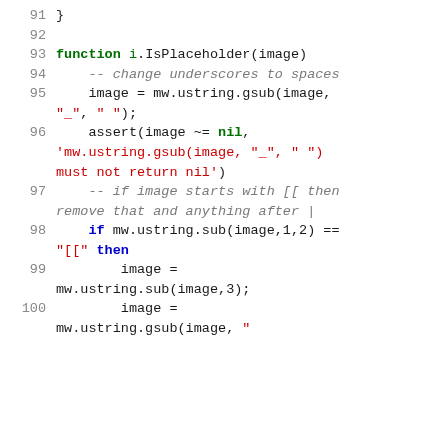Code snippet lines 91-100, Lua/MediaWiki code showing function i.IsPlaceholder(image) with string manipulation operations